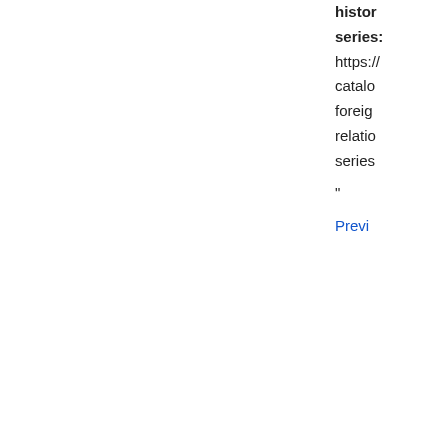histor series: https:// catalo foreig relatio series
"
Previ
From inside the book
relationship
Search
Results 1-5 of 65
Page iv
Therefore the documents selected are necessarily a sampling chosen to